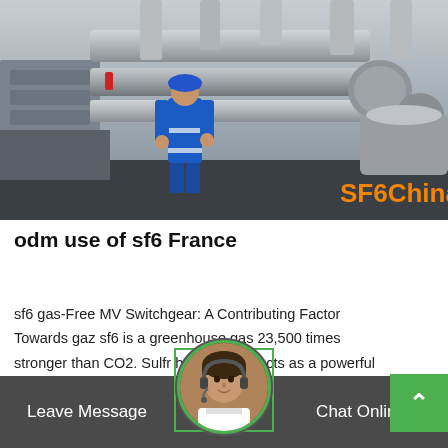[Figure (photo): Industrial worker in blue jumpsuit and blue hard hat working on large grey pipes/switchgear equipment at an electrical substation. Watermark text 'SF6China' in orange at bottom-right.]
odm use of sf6 France
sf6 gas-Free MV Switchgear: A Contributing Factor Towards gaz sf6 is a greenhouse gas 23,500 times stronger than CO2. Sulfr hexafluoride acts as a powerful electrical insulator and is found within most of the existing medium voltage switchgear installed
[Figure (photo): Customer service avatar — woman with headset, circular green-bordered photo in bottom bar]
Leave Message   Chat Online